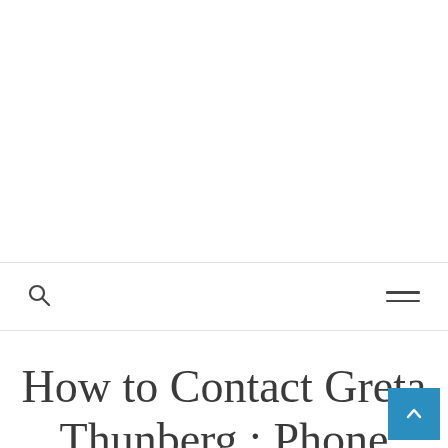[Advertisement / banner area]
Search | Menu
How to Contact Greta Thunberg : Phone